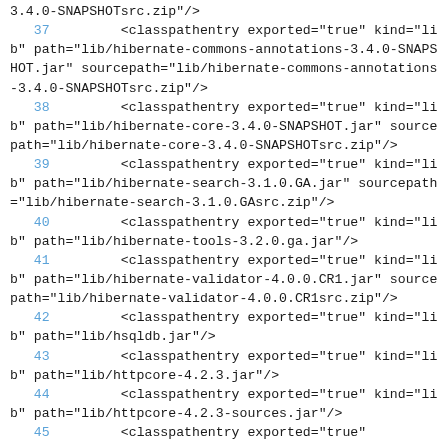Code listing showing XML classpath entries (lines 37-45) for hibernate and related libraries in a .classpath file.